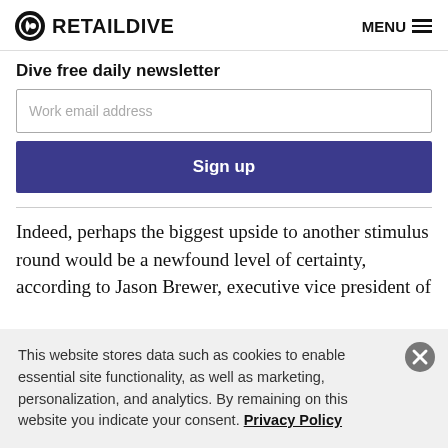RETAIL DIVE | MENU
Dive free daily newsletter
Work email address
Sign up
Indeed, perhaps the biggest upside to another stimulus round would be a newfound level of certainty, according to Jason Brewer, executive vice president of
This website stores data such as cookies to enable essential site functionality, as well as marketing, personalization, and analytics. By remaining on this website you indicate your consent. Privacy Policy